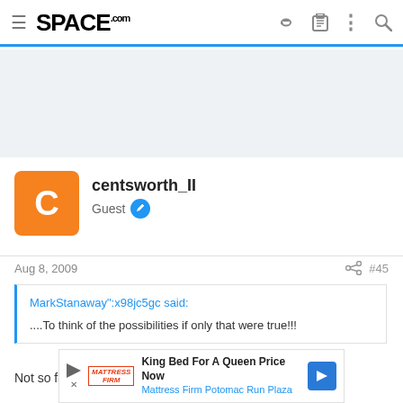SPACE.com
[Figure (other): Light gray advertisement placeholder area]
centsworth_II
Guest
Aug 8, 2009   #45
MarkStanaway":x98jc5gc said:
....To think of the possibilities if only that were true!!!
Not so fast :lol:
[Figure (other): Mattress Firm advertisement: King Bed For A Queen Price Now, Mattress Firm Potomac Run Plaza]